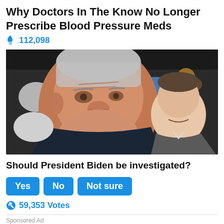Why Doctors In The Know No Longer Prescribe Blood Pressure Meds
🔥 112,098
[Figure (photo): Close-up photo of an older man with white hair in a dark jacket, with a younger man smiling in the background at what appears to be a public event or rally.]
Should President Biden be investigated?
Yes   No   Not sure
↻ 59,353 Votes
Sponsored Ad